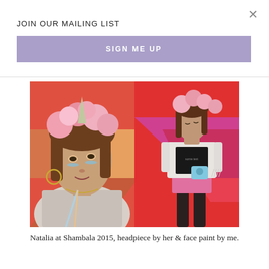JOIN OUR MAILING LIST
SIGN ME UP
[Figure (photo): Two photos side by side: left shows a woman close-up wearing a pink floral unicorn headpiece with a horn, gold hoop earrings, glitter face paint under eyes, and a grey cardigan; right shows the same woman full-body standing in front of a colorful geometric mural in pink/red/orange, wearing sparkly pink shorts, a white fringe cardigan over a black crop top, holding a light blue Instax camera.]
Natalia at Shambala 2015, headpiece by her & face paint by me.